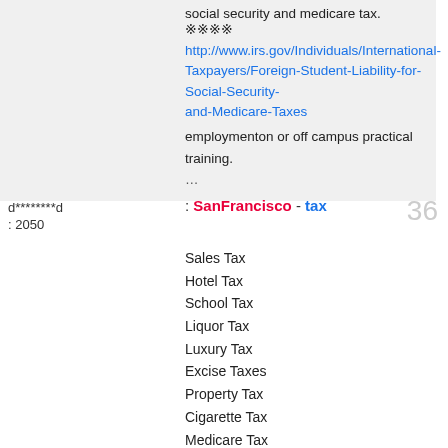social security and medicare tax. 더보기 http://www.irs.gov/Individuals/International-Taxpayers/Foreign-Student-Liability-for-Social-Security-and-Medicare-Taxes employment에서 on or off campus 내practical training. 더보기... 더보기
d********d
등록일: 2050
검색결과: SanFrancisco세 - 세금tax
샌프란시스코에서지불해야하는세금의종류입니다
Sales Tax
Hotel Tax
School Tax
Liquor Tax
Luxury Tax
Excise Taxes
Property Tax
Cigarette Tax
Medicare Tax
Inventory Tax
Car Rental Tax
Real Estate Tax
Well Permit Tax